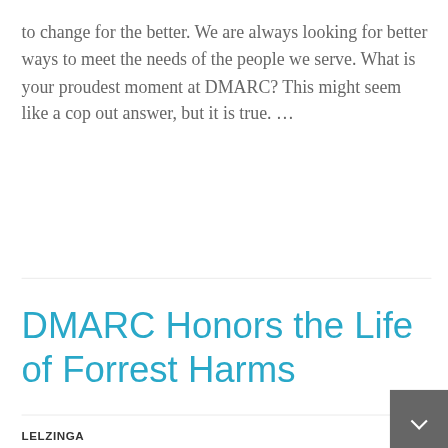to change for the better. We are always looking for better ways to meet the needs of the people we serve. What is your proudest moment at DMARC? This might seem like a cop out answer, but it is true. …
DMARC Honors the Life of Forrest Harms
LELZINGA
NOVEMBER 10, 2021
2 COMMENTS